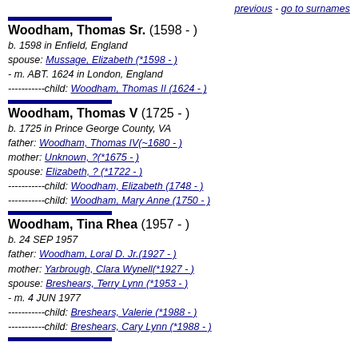previous - go to surnames
Woodham, Thomas Sr. (1598 - )
b. 1598 in Enfield, England
spouse: Mussage, Elizabeth (*1598 - )
- m. ABT. 1624 in London, England
-----------child: Woodham, Thomas II (1624 - )
Woodham, Thomas V (1725 - )
b. 1725 in Prince George County, VA
father: Woodham, Thomas IV(~1680 - )
mother: Unknown, ?(*1675 - )
spouse: Elizabeth, ? (*1722 - )
-----------child: Woodham, Elizabeth (1748 - )
-----------child: Woodham, Mary Anne (1750 - )
Woodham, Tina Rhea (1957 - )
b. 24 SEP 1957
father: Woodham, Loral D. Jr.(1927 - )
mother: Yarbrough, Clara Wynell(*1927 - )
spouse: Breshears, Terry Lynn (*1953 - )
- m. 4 JUN 1977
-----------child: Breshears, Valerie (*1988 - )
-----------child: Breshears, Cary Lynn (*1988 - )